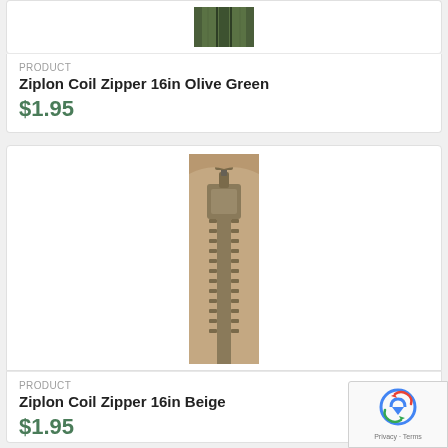[Figure (photo): Top portion of olive green coil zipper, cropped at top]
PRODUCT
Ziplon Coil Zipper 16in Olive Green
$1.95
[Figure (photo): Beige/tan coil zipper showing full slider and tape, close-up product photo]
PRODUCT
Ziplon Coil Zipper 16in Beige
$1.95